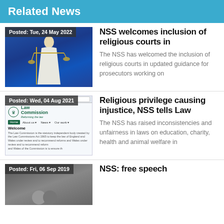Related News
[Figure (photo): Statue of Lady Justice holding scales against blue background, with 'Posted: Tue, 24 May 2022' overlay]
NSS welcomes inclusion of religious courts in
The NSS has welcomed the inclusion of religious courts in updated guidance for prosecutors working on
[Figure (screenshot): Screenshot of Law Commission website homepage, with 'Posted: Wed, 04 Aug 2021' overlay]
Religious privilege causing injustice, NSS tells Law
The NSS has raised inconsistencies and unfairness in laws on education, charity, health and animal welfare in
[Figure (photo): Partial image with 'Posted: Fri, 06 Sep 2019' overlay]
NSS: free speech